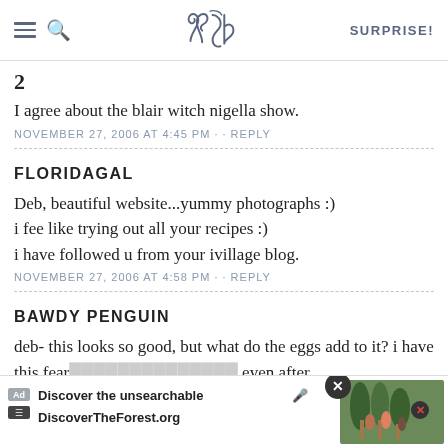SK | SURPRISE!
2
I agree about the blair witch nigella show.
NOVEMBER 27, 2006 AT 4:45 PM · · REPLY
FLORIDAGAL
Deb, beautiful website...yummy photographs :)
i fee like trying out all your recipes :)
i have followed u from your ivillage blog.
NOVEMBER 27, 2006 AT 4:58 PM · · REPLY
BAWDY PENGUIN
deb- this looks so good, but what do the eggs add to it? i have this fear... even after the...?
[Figure (screenshot): Ad overlay: Discover the unsearchable / DiscoverTheForest.org with forest photo and close button]